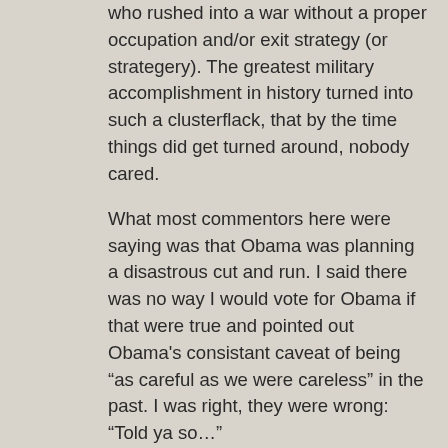who rushed into a war without a proper occupation and/or exit strategy (or strategery). The greatest military accomplishment in history turned into such a clusterflack, that by the time things did get turned around, nobody cared.

What most commentors here were saying was that Obama was planning a disastrous cut and run. I said there was no way I would vote for Obama if that were true and pointed out Obama's consistant caveat of being “as careful as we were careless” in the past. I was right, they were wrong: “Told ya so…”
[Figure (other): Like and dislike button icons with 'Like' text label]